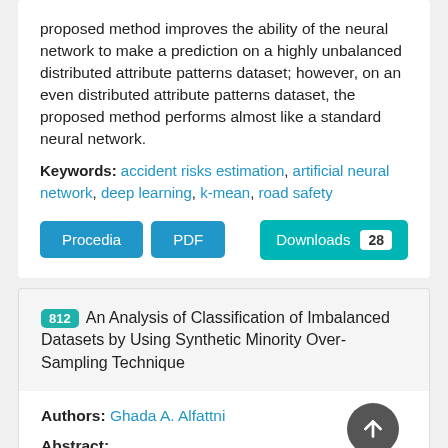proposed method improves the ability of the neural network to make a prediction on a highly unbalanced distributed attribute patterns dataset; however, on an even distributed attribute patterns dataset, the proposed method performs almost like a standard neural network.
Keywords: accident risks estimation, artificial neural network, deep learning, k-mean, road safety
Procedia | PDF | Downloads 28
812 An Analysis of Classification of Imbalanced Datasets by Using Synthetic Minority Over-Sampling Technique
Authors: Ghada A. Alfattni
Abstract: